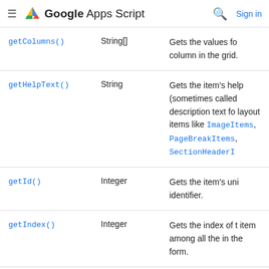Google Apps Script | Sign in
| Method | Return type | Brief description |
| --- | --- | --- |
| getColumns() | String[] | Gets the values fo column in the grid. |
| getHelpText() | String | Gets the item's help (sometimes called description text fo layout items like ImageItems, PageBreakItems, SectionHeaderI |
| getId() | Integer | Gets the item's uni identifier. |
| getIndex() | Integer | Gets the index of t item among all the in the form. |
| getRows() | String[] | Gets the values fo row in the grid. |